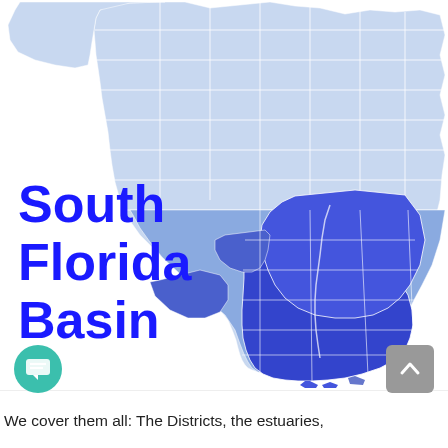[Figure (map): Map of Florida showing water management districts/basins highlighted in shades of blue. The South Florida Basin is shown in darker blue covering the southern and southeastern portion of the state. Northern/central counties shown in lighter blue.]
South Florida Basin
We cover them all: The Districts, the estuaries,